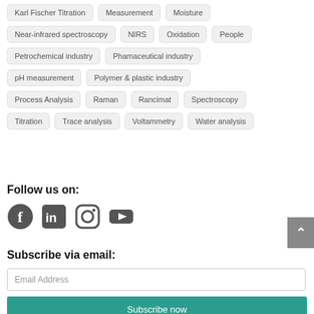Karl Fischer Titration
Measurement
Moisture
Near-infrared spectroscopy
NIRS
Oxidation
People
Petrochemical industry
Phamaceutical industry
pH measurement
Polymer & plastic industry
Process Analysis
Raman
Rancimat
Spectroscopy
Titration
Trace analysis
Voltammetry
Water analysis
Follow us on:
[Figure (illustration): Social media icons: Facebook, LinkedIn, Instagram, YouTube]
Subscribe via email:
Email Address
Subscribe now